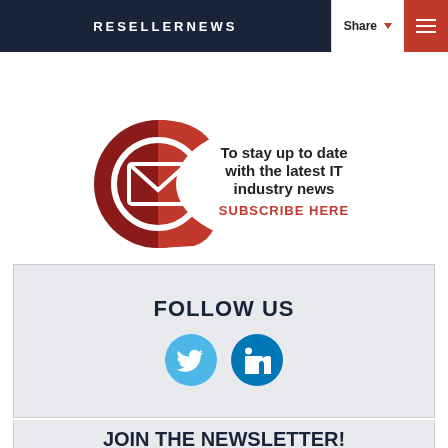RESELLERNEWS | Share | Menu
standards will shake out, but in any case users will end up benefiting from better GPU and system performance.
[Figure (infographic): Subscribe banner: red circular envelope icon with text 'To stay up to date with the latest IT industry news SUBSCRIBE HERE']
FOLLOW US
[Figure (infographic): Twitter and LinkedIn social media icons in circular format]
JOIN THE NEWSLETTER!
Email address input field with Join button and reCAPTCHA